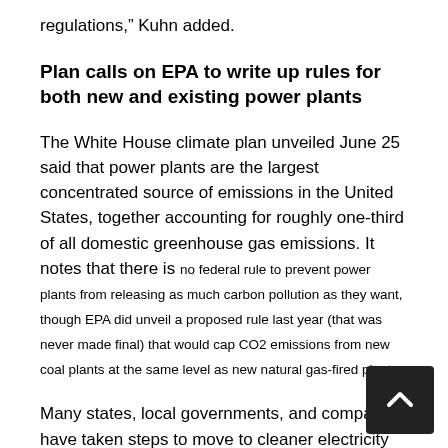regulations," Kuhn added.
Plan calls on EPA to write up rules for both new and existing power plants
The White House climate plan unveiled June 25 said that power plants are the largest concentrated source of emissions in the United States, together accounting for roughly one-third of all domestic greenhouse gas emissions. It notes that there is no federal rule to prevent power plants from releasing as much carbon pollution as they want, though EPA did unveil a proposed rule last year (that was never made final) that would cap CO2 emissions from new coal plants at the same level as new natural gas-fired plants.
Many states, local governments, and companies have taken steps to move to cleaner electricity sources. More than 35 states have renewable energy targets in place, and more than 25 have set energy efficiency targets, the